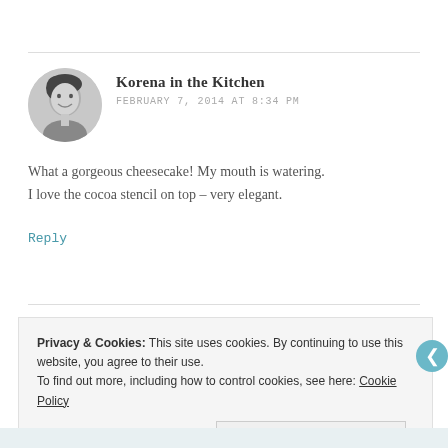[Figure (photo): Black and white circular avatar photo of a woman smiling, short dark hair]
Korena in the Kitchen
FEBRUARY 7, 2014 AT 8:34 PM
What a gorgeous cheesecake! My mouth is watering. I love the cocoa stencil on top – very elegant.
Reply
Privacy & Cookies: This site uses cookies. By continuing to use this website, you agree to their use. To find out more, including how to control cookies, see here: Cookie Policy
Close and accept